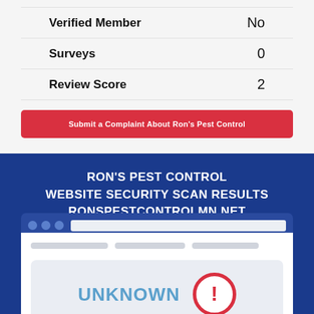| Field | Value |
| --- | --- |
| Verified Member | No |
| Surveys | 0 |
| Review Score | 2 |
Submit a Complaint About Ron's Pest Control
RON'S PEST CONTROL
WEBSITE SECURITY SCAN RESULTS
RONSPESTCONTROLMN.NET
[Figure (screenshot): Browser mockup showing UNKNOWN status with red warning/exclamation icon]